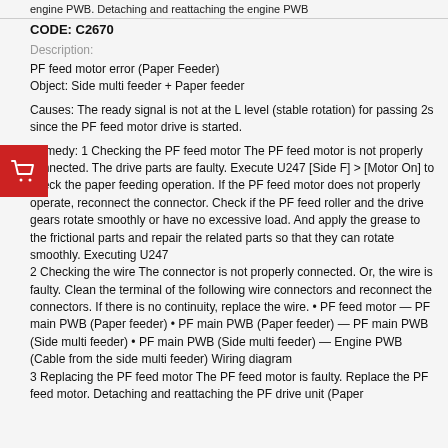engine PWB. Detaching and reattaching the engine PWB
CODE: C2670
Description:
PF feed motor error (Paper Feeder)
Object: Side multi feeder + Paper feeder
Causes: The ready signal is not at the L level (stable rotation) for passing 2s since the PF feed motor drive is started.
Remedy: 1 Checking the PF feed motor The PF feed motor is not properly connected. The drive parts are faulty. Execute U247 [Side F] > [Motor On] to check the paper feeding operation. If the PF feed motor does not properly operate, reconnect the connector. Check if the PF feed roller and the drive gears rotate smoothly or have no excessive load. And apply the grease to the frictional parts and repair the related parts so that they can rotate smoothly. Executing U247
2 Checking the wire The connector is not properly connected. Or, the wire is faulty. Clean the terminal of the following wire connectors and reconnect the connectors. If there is no continuity, replace the wire. • PF feed motor — PF main PWB (Paper feeder) • PF main PWB (Paper feeder) — PF main PWB (Side multi feeder) • PF main PWB (Side multi feeder) — Engine PWB (Cable from the side multi feeder) Wiring diagram
3 Replacing the PF feed motor The PF feed motor is faulty. Replace the PF feed motor. Detaching and reattaching the PF drive unit (Paper
[Figure (illustration): Red shopping cart icon button on left side of page]